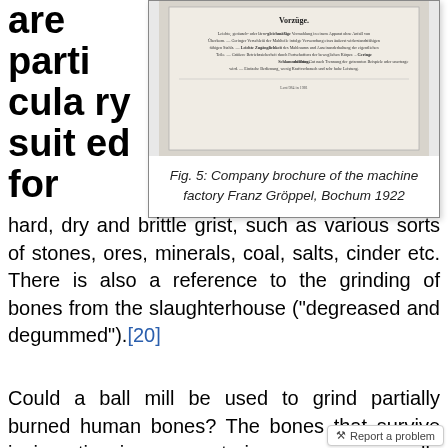are particularly suited for
[Figure (photo): Scanned image of a company brochure page showing German text with title 'Vorzüge.' and detailed description text.]
Fig. 5: Company brochure of the machine factory Franz Gröppel, Bochum 1922
hard, dry and brittle grist, such as various sorts of stones, ores, minerals, coal, salts, cinder etc. There is also a reference to the grinding of bones from the slaughterhouse ("degreased and degummed").[20]
Could a ball mill be used to grind partially burned human bones? The bones that survive incineration in a crematorium oven are usually well-burned and can easily be crus